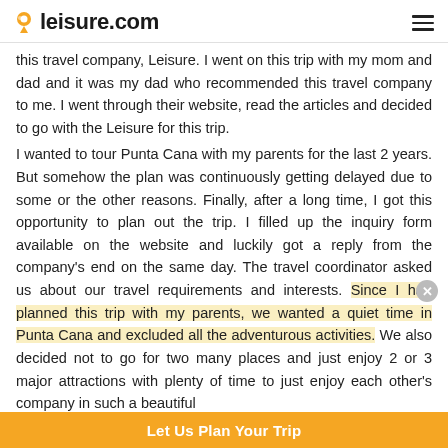leisure.com
this travel company, Leisure. I went on this trip with my mom and dad and it was my dad who recommended this travel company to me. I went through their website, read the articles and decided to go with the Leisure for this trip.
I wanted to tour Punta Cana with my parents for the last 2 years. But somehow the plan was continuously getting delayed due to some or the other reasons. Finally, after a long time, I got this opportunity to plan out the trip. I filled up the inquiry form available on the website and luckily got a reply from the company's end on the same day. The travel coordinator asked us about our travel requirements and interests. Since I had planned this trip with my parents, we wanted a quiet time in Punta Cana and excluded all the adventurous activities. We also decided not to go for two many places and just enjoy 2 or 3 major attractions with plenty of time to just enjoy each other's company in such a beautiful
Let Us Plan Your Trip